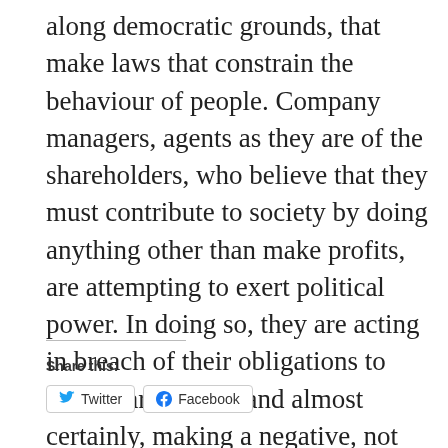along democratic grounds, that make laws that constrain the behaviour of people. Company managers, agents as they are of the shareholders, who believe that they must contribute to society by doing anything other than make profits, are attempting to exert political power. In doing so, they are acting in breach of their obligations to their shareholders and almost certainly, making a negative, not positive, contribution to society.
Share this: